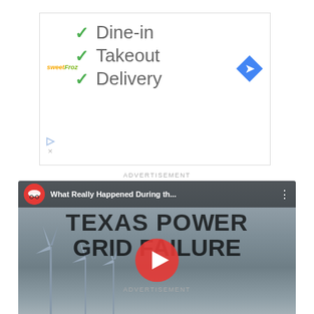[Figure (screenshot): Advertisement banner for a restaurant (sweetFrog) showing dine-in, takeout, and delivery options with green checkmarks, Google Maps arrow icon, and ad icons]
ADVERTISEMENT
[Figure (screenshot): YouTube video thumbnail from Practical Engineering channel. Title: 'What Really Happened During th...' showing 'TEXAS POWER GRID FAILURE' text overlay with wind turbines in snowy background and YouTube play button]
ADVERTISEMENT